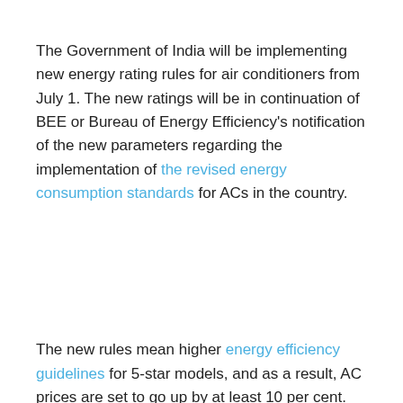The Government of India will be implementing new energy rating rules for air conditioners from July 1. The new ratings will be in continuation of BEE or Bureau of Energy Efficiency's notification of the new parameters regarding the implementation of the revised energy consumption standards for ACs in the country.
The new rules mean higher energy efficiency guidelines for 5-star models, and as a result, AC prices are set to go up by at least 10 per cent.